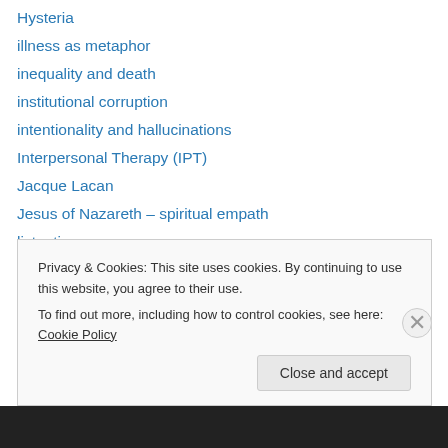Hysteria
illness as metaphor
inequality and death
institutional corruption
intentionality and hallucinations
Interpersonal Therapy (IPT)
Jacque Lacan
Jesus of Nazareth – spiritual empath
listenting
lost in translation
Major Depressive Disorder
Marsah Linehan
medical anthropology
Melancholia
Privacy & Cookies: This site uses cookies. By continuing to use this website, you agree to their use. To find out more, including how to control cookies, see here: Cookie Policy